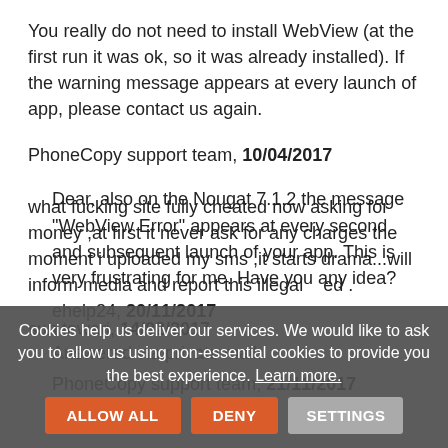You really do not need to install WebView (at the first run it was ok, so it was already installed). If the warning message appears at every launch of app, please contact us again.
PhoneCopy support team, 10/04/2017
Dear, also on the Nougat 7.1.2 the message "WebView Error" appears at every second and subsequent launch of your app. This is very frustrating for me. Have you any idea?
ehelp24, 20/11/2017
Answered via private mail.
PhoneCopy support team, 21/11/2017
what fucking site fully cheated now asking for money ,at first it never ask for any charges the moment i uploaded my sms ,it starts drama...will inform media and report this illegal ...ed.
sun tewari, 14/02/2017
Cookies help us deliver our services. We would like to ask you to allow us using non-essential cookies to provide you the best experience. Learn more.